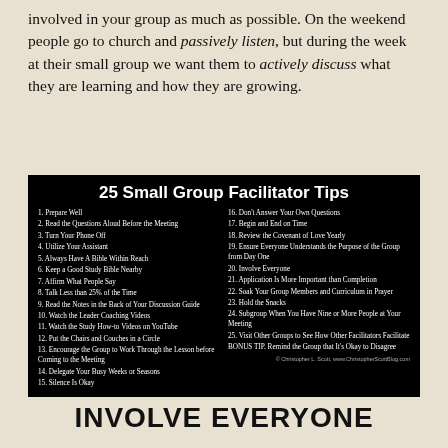involved in your group as much as possible. On the weekend people go to church and passively listen, but during the week at their small group we want them to actively discuss what they are learning and how they are growing.
[Figure (infographic): Black background infographic titled '25 Small Group Facilitator Tips' listing 25 numbered tips in two columns plus a bonus tip, with copyright notice for Christopher L. Scott, www.ChristopherScottBlog.com]
INVOLVE EVERYONE